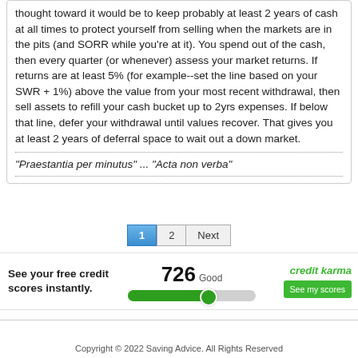thought toward it would be to keep probably at least 2 years of cash at all times to protect yourself from selling when the markets are in the pits (and SORR while you're at it). You spend out of the cash, then every quarter (or whenever) assess your market returns. If returns are at least 5% (for example--set the line based on your SWR + 1%) above the value from your most recent withdrawal, then sell assets to refill your cash bucket up to 2yrs expenses. If below that line, defer your withdrawal until values recover. That gives you at least 2 years of deferral space to wait out a down market.
"Praestantia per minutus" ... "Acta non verba"
[Figure (other): Pagination controls showing page 1 (active, blue), page 2, and Next button]
[Figure (infographic): Credit Karma advertisement banner showing score 726 Good with green progress bar and See my scores button]
Copyright © 2022 Saving Advice. All Rights Reserved